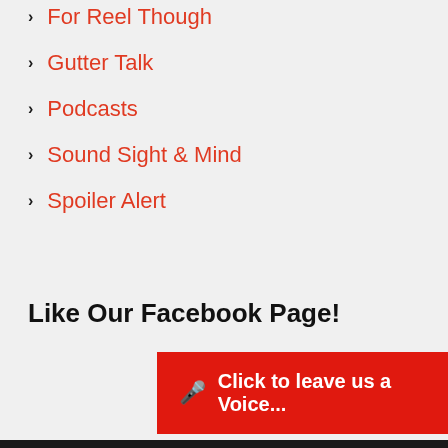For Reel Though
Gutter Talk
Podcasts
Sound Sight & Mind
Spoiler Alert
Like Our Facebook Page!
Click to leave us a Voice...